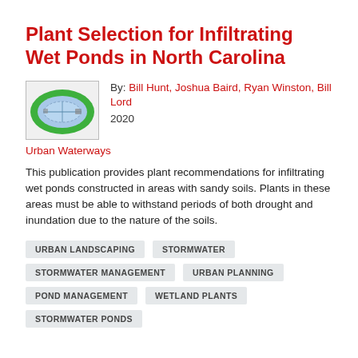Plant Selection for Infiltrating Wet Ponds in North Carolina
[Figure (illustration): Thumbnail diagram of an infiltrating wet pond, showing an oval blue water body surrounded by a green vegetated border, with flow paths indicated inside.]
By: Bill Hunt, Joshua Baird, Ryan Winston, Bill Lord
2020
Urban Waterways
This publication provides plant recommendations for infiltrating wet ponds constructed in areas with sandy soils. Plants in these areas must be able to withstand periods of both drought and inundation due to the nature of the soils.
URBAN LANDSCAPING
STORMWATER
STORMWATER MANAGEMENT
URBAN PLANNING
POND MANAGEMENT
WETLAND PLANTS
STORMWATER PONDS